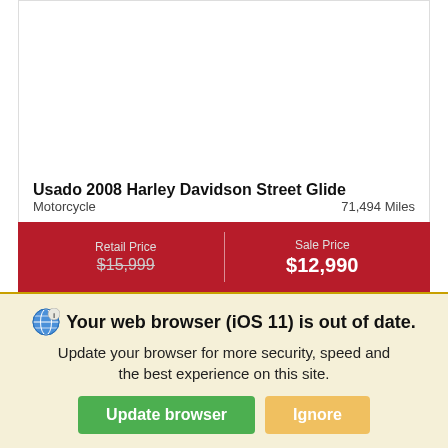[Figure (photo): Empty white image area for vehicle photo of 2008 Harley Davidson Street Glide]
Usado 2008 Harley Davidson Street Glide
Motorcycle    71,494 Miles
| Retail Price | Sale Price |
| --- | --- |
| $15,999 | $12,990 |
Nombre   Apellido
*Email
Your web browser (iOS 11) is out of date. Update your browser for more security, speed and the best experience on this site.
Update browser   Ignore